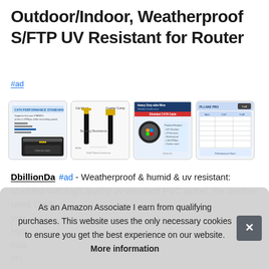Outdoor/Indoor, Weatherproof S/FTP UV Resistant for Router
#ad
[Figure (photo): Four product images for Ethernet cable: 1) CAT6 performance standard infographic with cable, 2) Flat Ethernet cable with gold connectors close-up, 3) Heavy duty cable diagram with shielding interference info, 4) Product specification/performance chart]
DbillionDa #ad - Weatherproof & humid & uv resistant: shielded with high quality uv-resistant PVC jacket, the outdoor rated Cat8... you... Hyp... mac... ofc...
As an Amazon Associate I earn from qualifying purchases. This website uses the only necessary cookies to ensure you get the best experience on our website. More information